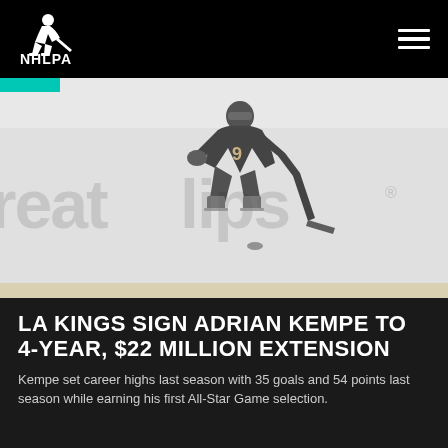NHLPA
[Figure (photo): Hockey player wearing LA Kings jersey number 9 skating on ice rink, with Great Clips arena advertising boards visible in background. Image is slightly faded/light.]
LA KINGS SIGN ADRIAN KEMPE TO 4-YEAR, $22 MILLION EXTENSION
Kempe set career highs last season with 35 goals and 54 points last season while earning his first All-Star Game selection.